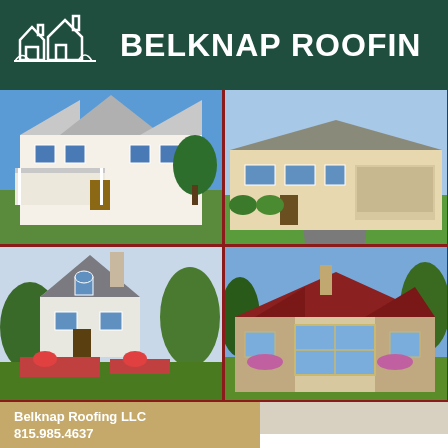BELKNAP ROOFING
[Figure (photo): Grid of six house exterior photos showing various residential roofing installations. Top-left: large white two-story colonial home with covered porch. Top-center: ranch-style beige home with attached garage. Top-right: partial view of beige home. Bottom-left: close-up of steep gray roof with chimney and cottage-style home. Bottom-center: large stone and stucco luxury home with red/brown roof and chimney. Bottom-right: partial view of white home.]
Home   Services   Roofing
Belknap Roofing LLC
815.985.4637